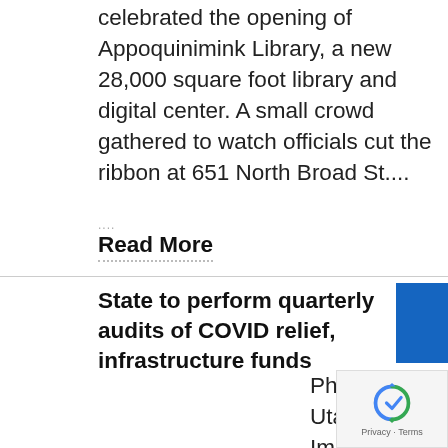celebrated the opening of Appoquinimink Library, a new 28,000 square foot library and digital center. A small crowd gathered to watch officials cut the ribbon at 651 North Broad St....
....
Read More
State to perform quarterly audits of COVID relief, infrastructure funds
Photo by Utah778/Getty Images Pro. Delaware has set aside more than $3 million to audit agencies and nonprofit organizations that receive funding from federal infrastructure and COVID relief bills. The state will perform quarterly reviews of agencies and organizations receiving funds
....